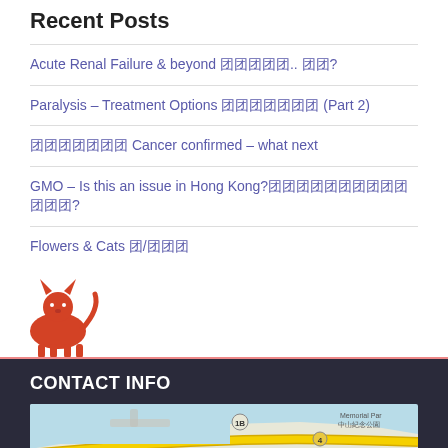Recent Posts
Acute Renal Failure & beyond 急性肾衰竭.. 之后?
Paralysis – Treatment Options 瘫痪治疗选择 (Part 2)
癌症确诊 Cancer confirmed – what next
GMO – Is this an issue in Hong Kong?转基因食品在香港是问题吗?
Flowers & Cats 花/猫咪
[Figure (illustration): Red illustrated animal (cat or dog) figure at bottom left of white section]
CONTACT INFO
[Figure (map): Google Maps showing Sai Wan and Sai Ying Pun area of Hong Kong, with Kennedy Town Swimming Pool visible, road markers 1B and 4 visible, label 中山紀念公園 (Memorial Park)]